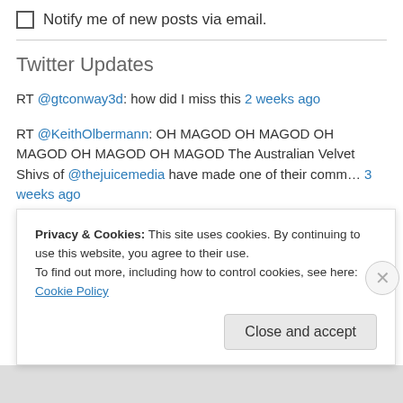Notify me of new posts via email.
Twitter Updates
RT @gtconway3d: how did I miss this 2 weeks ago
RT @KeithOlbermann: OH MAGOD OH MAGOD OH MAGOD OH MAGOD OH MAGOD The Australian Velvet Shivs of @thejuicemedia have made one of their comm… 3 weeks ago
RT @MeidasTouch: Wow! Beto O'Rourke just crashed Gov. Abbott's press conference on the Uvalde Massacre and demanded he do something about t… 2 months ago
Privacy & Cookies: This site uses cookies. By continuing to use this website, you agree to their use.
To find out more, including how to control cookies, see here: Cookie Policy
Close and accept